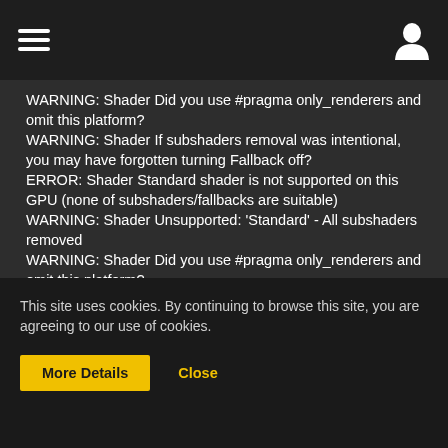[Figure (screenshot): Top navigation bar with hamburger menu icon on the left and user/profile icon on the right, on a dark background]
WARNING: Shader Did you use #pragma only_renderers and omit this platform?
WARNING: Shader If subshaders removal was intentional, you may have forgotten turning Fallback off?
ERROR: Shader Standard shader is not supported on this GPU (none of subshaders/fallbacks are suitable)
WARNING: Shader Unsupported: 'Standard' - All subshaders removed
WARNING: Shader Did you use #pragma only_renderers and omit this platform?
WARNING: Shader If subshaders removal was intentional, you may have forgotten turning Fallback off?
WARNING: Shader Unsupported: 'Autodesk Interactive' - All subshaders removed
WARNING: Shader Did you use #pragma only_renderers and omit
This site uses cookies. By continuing to browse this site, you are agreeing to our use of cookies.
More Details
Close